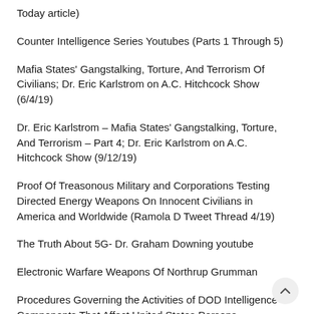Today article)
Counter Intelligence Series Youtubes (Parts 1 Through 5)
Mafia States' Gangstalking, Torture, And Terrorism Of Civilians; Dr. Eric Karlstrom on A.C. Hitchcock Show (6/4/19)
Dr. Eric Karlstrom – Mafia States' Gangstalking, Torture, And Terrorism – Part 4; Dr. Eric Karlstrom on A.C. Hitchcock Show (9/12/19)
Proof Of Treasonous Military and Corporations Testing Directed Energy Weapons On Innocent Civilians in America and Worldwide (Ramola D Tweet Thread 4/19)
The Truth About 5G- Dr. Graham Downing youtube
Electronic Warfare Weapons Of Northrup Grumman
Procedures Governing the Activities of DOD Intelligence Components That Affect United States Persons